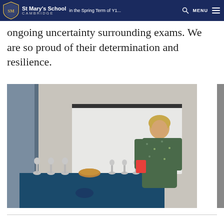St Mary's School Cambridge | in the Spring Term of Y1... | MENU
ongoing uncertainty surrounding exams. We are so proud of their determination and resilience.
[Figure (photo): A woman in a green floral dress stands at the front of a classroom reading from a paper, beside a table covered with a dark blue tablecloth on which trophies and a wooden bowl are displayed.]